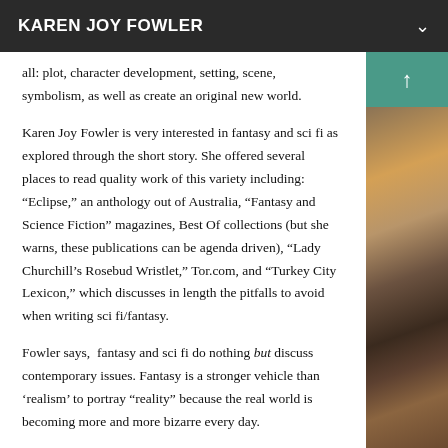KAREN JOY FOWLER
all: plot, character development, setting, scene, symbolism, as well as create an original new world.
Karen Joy Fowler is very interested in fantasy and sci fi as explored through the short story. She offered several places to read quality work of this variety including: “Eclipse,” an anthology out of Australia, “Fantasy and Science Fiction” magazines, Best Of collections (but she warns, these publications can be agenda driven), “Lady Churchill’s Rosebud Wristlet,” Tor.com, and “Turkey City Lexicon,” which discusses in length the pitfalls to avoid when writing sci fi/fantasy.
Fowler says, fantasy and sci fi do nothing but discuss contemporary issues. Fantasy is a stronger vehicle than ‘realism’ to portray “reality” because the real world is becoming more and more bizarre every day.
Fantasy and science fiction are genres of setting, first and